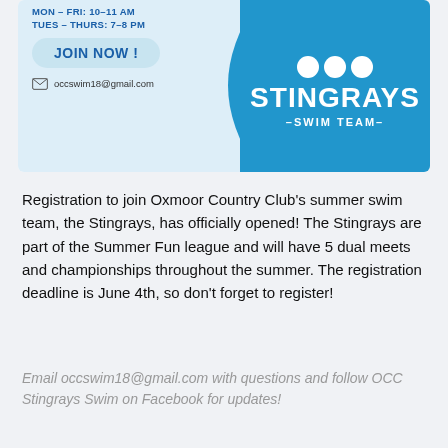[Figure (infographic): Stingrays Swim Team banner with schedule (MON-FRI: 10-11 AM, TUES-THURS: 7-8 PM), JOIN NOW button, email occswim18@gmail.com, and blue right panel with STINGRAYS -SWIM TEAM- text and social icons.]
Registration to join Oxmoor Country Club's summer swim team, the Stingrays, has officially opened! The Stingrays are part of the Summer Fun league and will have 5 dual meets and championships throughout the summer. The registration deadline is June 4th, so don't forget to register!
Email occswim18@gmail.com with questions and follow OCC Stingrays Swim on Facebook for updates!